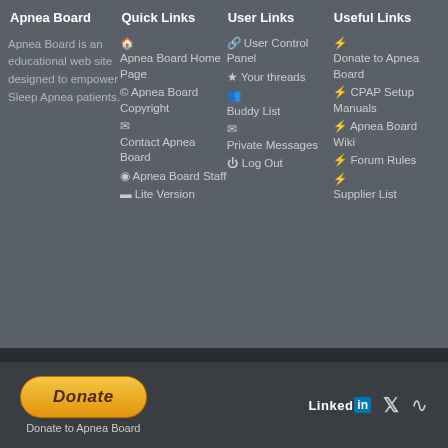Apnea Board Quick Links User Links Useful Links
Apnea Board is an educational web site designed to empower Sleep Apnea patients.
🏠 Apnea Board Home Page
© Apnea Board Copyright
✉ Contact Apnea Board
🛡 Apnea Board Staff
▬ Lite Version
🔗 User Control Panel
★ Your threads
👥 Buddy List
✉ Private Messages
⏻ Log Out
⚡ Donate to Apnea Board
⚡ CPAP Setup Manuals
⚡ Apnea Board Wiki
⚡ Forum Rules
⚡ Supplier List
[Figure (other): Donate button (gold/orange pill-shaped button with italic text 'Donate') and label 'Donate to Apnea Board']
[Figure (other): Social media icons: LinkedIn logo, Twitter bird icon, RSS feed icon]